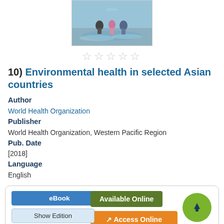[Figure (photo): Book cover photo showing children playing in water at a beach]
★★★★★ (empty stars rating)
10)  Environmental health in selected Asian countries
Author
World Health Organization
Publisher
World Health Organization, Western Pacific Region
Pub. Date
[2018]
Language
English
eBook | Available Online | Access Online | Show Edition